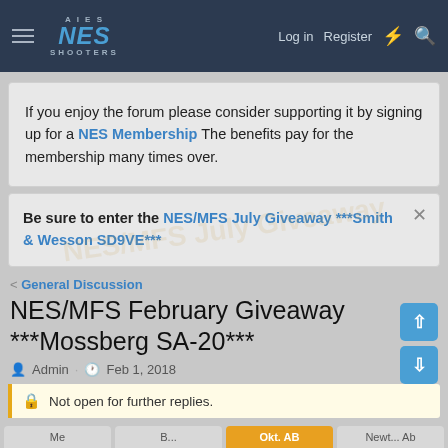NES Shooters — Log in  Register
If you enjoy the forum please consider supporting it by signing up for a NES Membership  The benefits pay for the membership many times over.
Be sure to enter the NES/MFS July Giveaway ***Smith & Wesson SD9VE***
< General Discussion
NES/MFS February Giveaway ***Mossberg SA-20***
Admin · Feb 1, 2018
Not open for further replies.